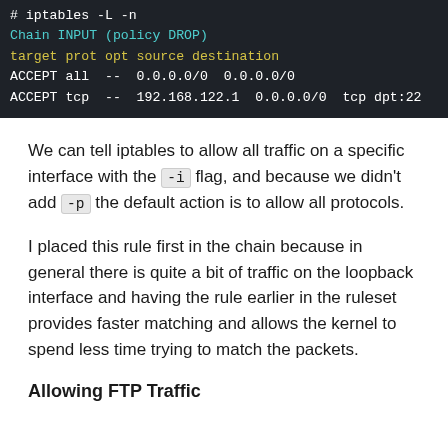[Figure (screenshot): Terminal/code block showing iptables commands and output: '# iptables -L -n', 'Chain INPUT (policy DROP)', 'target prot opt source destination', 'ACCEPT all -- 0.0.0.0/0 0.0.0.0/0', 'ACCEPT tcp -- 192.168.122.1 0.0.0.0/0 tcp dpt:22']
We can tell iptables to allow all traffic on a specific interface with the -i flag, and because we didn't add -p the default action is to allow all protocols.
I placed this rule first in the chain because in general there is quite a bit of traffic on the loopback interface and having the rule earlier in the ruleset provides faster matching and allows the kernel to spend less time trying to match the packets.
Allowing FTP Traffic